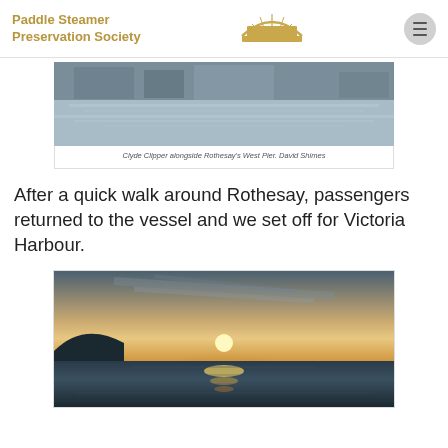Paddle Steamer Preservation Society
[Figure (photo): Clyde Clipper alongside Rothesay's West Pier, water reflection visible]
Clyde Clipper alongside Rothesay's West Pier. David Shimes
After a quick walk around Rothesay, passengers returned to the vessel and we set off for Victoria Harbour.
[Figure (photo): Sunset over water with dark silhouetted hills on the left, glowing sun low on horizon with light reflected on rippled water]